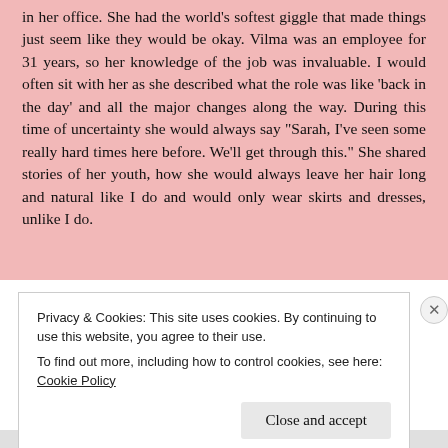in her office. She had the world's softest giggle that made things just seem like they would be okay. Vilma was an employee for 31 years, so her knowledge of the job was invaluable. I would often sit with her as she described what the role was like 'back in the day' and all the major changes along the way. During this time of uncertainty she would always say "Sarah, I've seen some really hard times here before. We'll get through this." She shared stories of her youth, how she would always leave her hair long and natural like I do and would only wear skirts and dresses, unlike I do.
Privacy & Cookies: This site uses cookies. By continuing to use this website, you agree to their use.
To find out more, including how to control cookies, see here: Cookie Policy
Close and accept